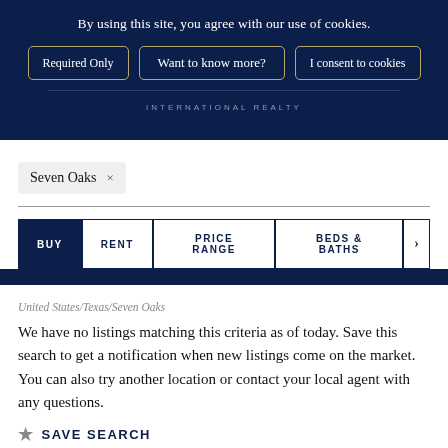By using this site, you agree with our use of cookies.
Required Only | Want to know more? | I consent to cookies
INTERNATIONAL REALTY
Seven Oaks ×
BUY | RENT | PRICE RANGE | BEDS & BATHS
United States/Texas/Seven Oaks
We have no listings matching this criteria as of today. Save this search to get a notification when new listings come on the market. You can also try another location or contact your local agent with any questions.
★ SAVE SEARCH